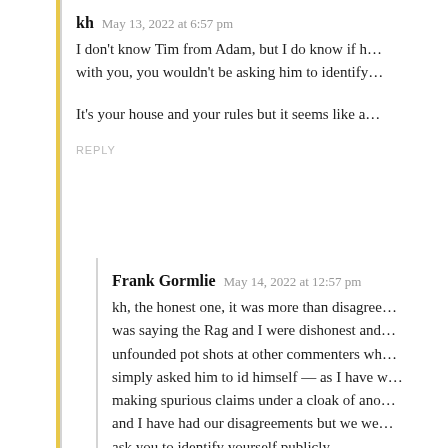kh   May 13, 2022 at 6:57 pm
I don't know Tim from Adam, but I do know if h… with you, you wouldn't be asking him to identify…
It's your house and your rules but it seems like a…
REPLY
Frank Gormlie   May 14, 2022 at 12:57 pm
kh, the honest one, it was more than disagree… was saying the Rag and I were dishonest and… unfounded pot shots at other commenters wh… simply asked him to id himself — as I have w… making spurious claims under a cloak of ano… and I have had our disagreements but we we… ask you to identify yourself publicly.
REPLY